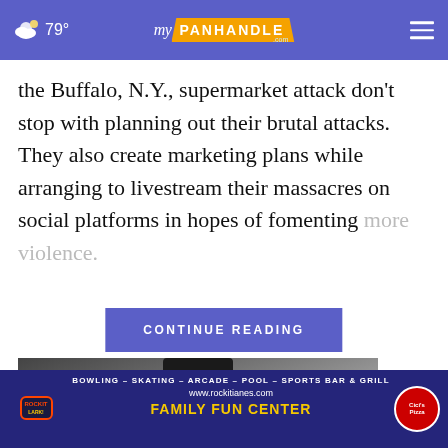☁ 79° | myPanhandle.com
the Buffalo, N.Y., supermarket attack don't stop with planning out their brutal attacks. They also create marketing plans while arranging to livestream their massacres on social platforms in hopes of fomenting more violence.
CONTINUE READING
Sites like Twit... [partially visible]
[Figure (photo): Partially visible photo of a person wearing a black top, cropped at torso level]
[Figure (advertisement): Rockit Lanes advertisement banner: BOWLING – SKATING – ARCADE – POOL – SPORTS BAR & GRILL, www.rockitianes.com, FAMILY FUN CENTER with Rockit Lark! logo and Cici's Pizza logo]